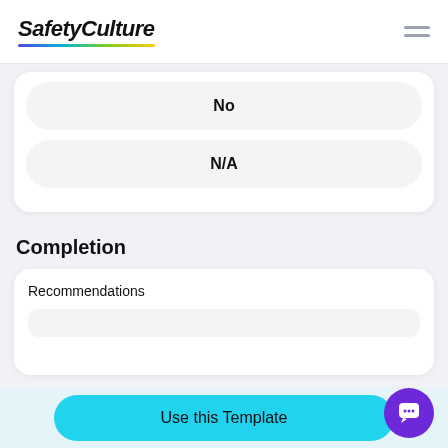SafetyCulture
No
N/A
Completion
Recommendations
Use this Template